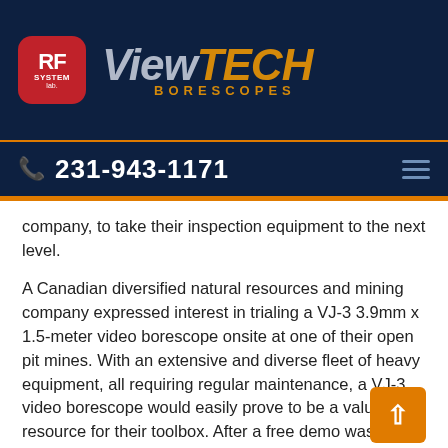[Figure (logo): RF System Lab and ViewTech Borescopes logo on dark navy background]
231-943-1171
company, to take their inspection equipment to the next level.
A Canadian diversified natural resources and mining company expressed interest in trialing a VJ-3 3.9mm x 1.5-meter video borescope onsite at one of their open pit mines. With an extensive and diverse fleet of heavy equipment, all requiring regular maintenance, a VJ-3 video borescope would easily prove to be a valuable resource for their toolbox. After a free demo was shipped to their Condition Monitoring Supervisor, the VJ-3 visually inspected cylinders, pistons, turbos, differentials, and hydraulic valving, along with travel and drill transmission gearings. With both in and